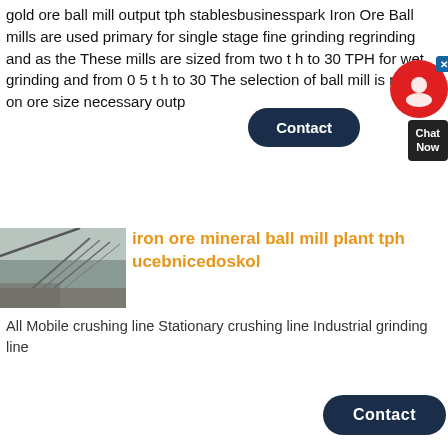gold ore ball mill output tph stablesbusinesspark Iron Ore Ball mills are used primary for single stage fine grinding regrinding and as the These mills are sized from two t h to 30 TPH for wet grinding and from 0 5 t h to 30 The selection of ball mill is rely on ore size necessary outp
[Figure (screenshot): Chat widget with red circular icon showing a person/headset silhouette, a dark navy pentagon-shaped Contact button, and a dark Chat Now popup box with an X close button]
[Figure (photo): Outdoor industrial conveyor belt or structural framework, grey overcast sky, metal scaffolding and belts visible]
iron ore mineral ball mill plant tph ucebnicedoskol
All Mobile crushing line Stationary crushing line Industrial grinding line
[Figure (screenshot): Dark navy Contact button at the bottom right of the page]